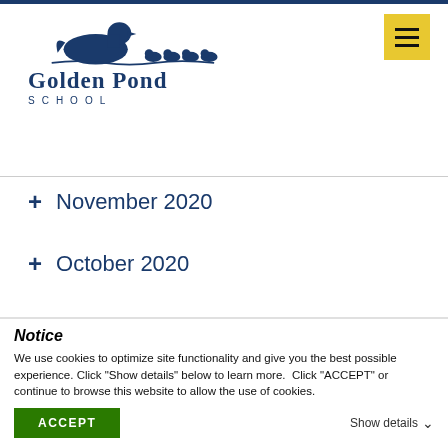[Figure (logo): Golden Pond School logo with duck silhouette and duckling motif above the school name]
November 2020
October 2020
September 2020
Testimonials
Notice
We use cookies to optimize site functionality and give you the best possible experience. Click "Show details" below to learn more.  Click "ACCEPT" or continue to browse this website to allow the use of cookies.
ACCEPT   Show details